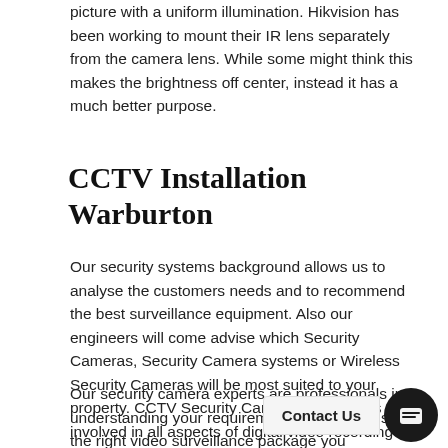picture with a uniform illumination. Hikvision has been working to mount their IR lens separately from the camera lens. While some might think this makes the brightness off center, instead it has a much better purpose.
CCTV Installation Warburton
Our security systems background allows us to analyse the customers needs and to recommend the best surveillance equipment. Also our engineers will come advise which Security Cameras, Security Camera systems or Wireless Security Cameras will be most suited to your property. CCTV Security Camera installetrs is involved in all aspects of digital video recording installation.
Our security camera experts are professionals in understanding your requirements a… customise the right video surveillance package you nee… experts gained professionalism through design, installation